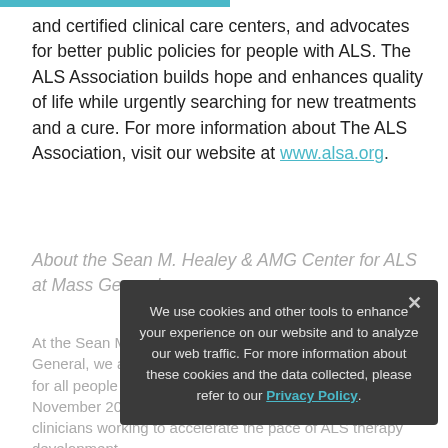and certified clinical care centers, and advocates for better public policies for people with ALS. The ALS Association builds hope and enhances quality of life while urgently searching for new treatments and a cure. For more information about The ALS Association, visit our website at www.alsa.org.
About the Sean M. Healey & AMG Center for ALS at Mass General
At the Sean M. Healey & AMG Center for ALS at Mass General, we are on a quest to discover life-saving therapies for all people who are affected by ALS. Launched in November 2014, we are a diverse group of researchers and clinicians working to accelerate the pace of ALS therapy development.
We use cookies and other tools to enhance your experience on our website and to analyze our web traffic. For more information about these cookies and the data collected, please refer to our Privacy Policy.